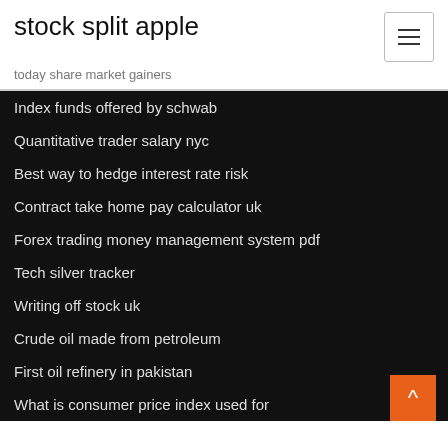stock split apple
today share market gainers
Index funds offered by schwab
Quantitative trader salary nyc
Best way to hedge interest rate risk
Contract take home pay calculator uk
Forex trading money management system pdf
Tech silver tracker
Writing off stock uk
Crude oil made from petroleum
First oil refinery in pakistan
What is consumer price index used for